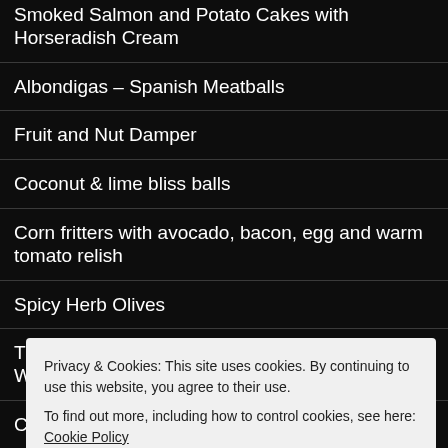Smoked Salmon and Potato Cakes with Horseradish Cream
Albondigas – Spanish Meatballs
Fruit and Nut Damper
Coconut & lime bliss balls
Corn fritters with avocado, bacon, egg and warm tomato relish
Spicy Herb Olives
Turkey Balls with Camembert & Cranberry Red Wine Sauce
Crumbed Calamari
Crocodile Burgers
Camp Oven Eggs in Purgatory
Privacy & Cookies: This site uses cookies. By continuing to use this website, you agree to their use. To find out more, including how to control cookies, see here: Cookie Policy